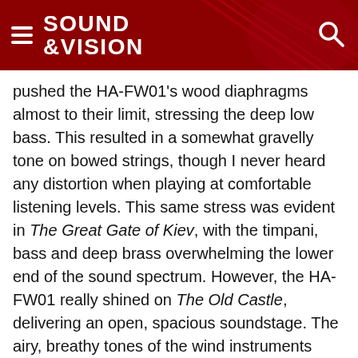SOUND &VISION
pushed the HA-FW01's wood diaphragms almost to their limit, stressing the deep low bass. This resulted in a somewhat gravelly tone on bowed strings, though I never heard any distortion when playing at comfortable listening levels. This same stress was evident in The Great Gate of Kiev, with the timpani, bass and deep brass overwhelming the lower end of the sound spectrum. However, the HA-FW01 really shined on The Old Castle, delivering an open, spacious soundstage. The airy, breathy tones of the wind instruments were natural and transparent, without a touch of coloration to detract from the recording.

Of course, I had to check out "I'm So Fancy" by Jason